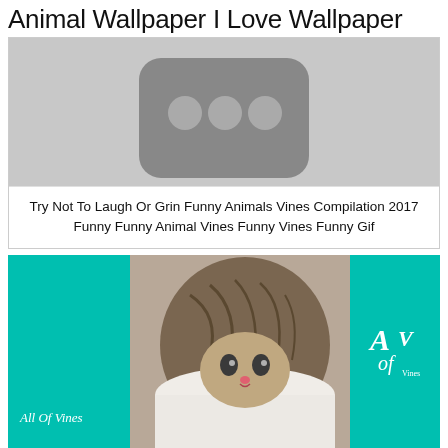Animal Wallpaper I Love Wallpaper
[Figure (screenshot): Screenshot thumbnail of a video showing a dark rounded square device icon with three circular dots on a light gray background]
Try Not To Laugh Or Grin Funny Animals Vines Compilation 2017 Funny Funny Animal Vines Funny Vines Funny Gif
[Figure (photo): A tabby kitten curled up inside a white round container/bowl looking up at the camera. Teal/green background on left and right sides with 'All Of Vines' text on left and a logo on the right.]